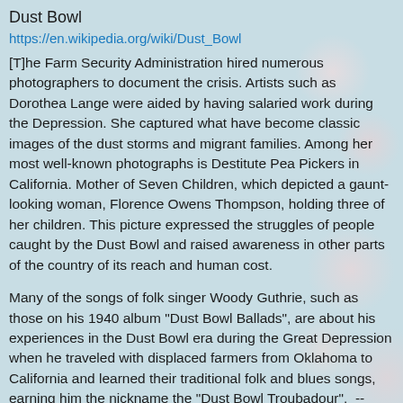Dust Bowl
https://en.wikipedia.org/wiki/Dust_Bowl
[T]he Farm Security Administration hired numerous photographers to document the crisis. Artists such as Dorothea Lange were aided by having salaried work during the Depression. She captured what have become classic images of the dust storms and migrant families. Among her most well-known photographs is Destitute Pea Pickers in California. Mother of Seven Children, which depicted a gaunt-looking woman, Florence Owens Thompson, holding three of her children. This picture expressed the struggles of people caught by the Dust Bowl and raised awareness in other parts of the country of its reach and human cost.
Many of the songs of folk singer Woody Guthrie, such as those on his 1940 album "Dust Bowl Ballads", are about his experiences in the Dust Bowl era during the Great Depression when he traveled with displaced farmers from Oklahoma to California and learned their traditional folk and blues songs, earning him the nickname the "Dust Bowl Troubadour".  --Wikipedia